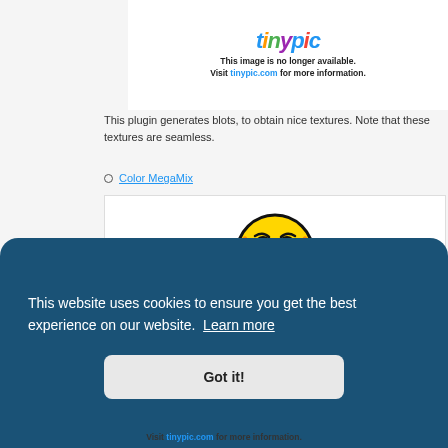[Figure (screenshot): Tinypic placeholder image showing 'This image is no longer available. Visit tinypic.com for more information.']
This plugin generates blots, to obtain nice textures. Note that these textures are seamless.
Color MegaMix
[Figure (illustration): Frustrated/worried yellow emoji face with hands on cheeks]
This website uses cookies to ensure you get the best experience on our website. Learn more
Got it!
Visit tinypic.com for more information.